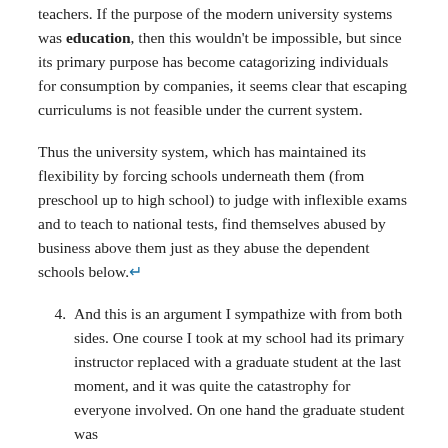teachers. If the purpose of the modern university systems was education, then this wouldn't be impossible, but since its primary purpose has become catagorizing individuals for consumption by companies, it seems clear that escaping curriculums is not feasible under the current system.
Thus the university system, which has maintained its flexibility by forcing schools underneath them (from preschool up to high school) to judge with inflexible exams and to teach to national tests, find themselves abused by business above them just as they abuse the dependent schools below.↩
4. And this is an argument I sympathize with from both sides. One course I took at my school had its primary instructor replaced with a graduate student at the last moment, and it was quite the catastrophy for everyone involved. On one hand the graduate student was